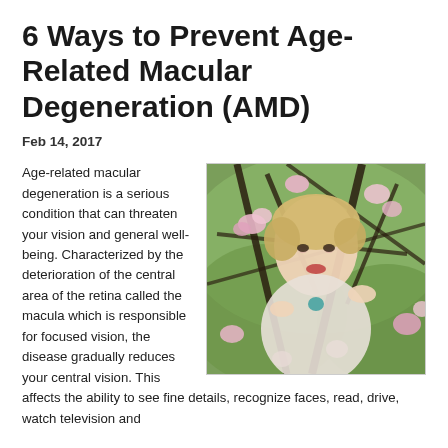6 Ways to Prevent Age-Related Macular Degeneration (AMD)
Feb 14, 2017
[Figure (photo): A woman with short blonde hair holding magnolia tree branches with pink flowers in bloom, photographed outdoors with a green background.]
Age-related macular degeneration is a serious condition that can threaten your vision and general well-being. Characterized by the deterioration of the central area of the retina called the macula which is responsible for focused vision, the disease gradually reduces your central vision. This affects the ability to see fine details, recognize faces, read, drive, watch television and